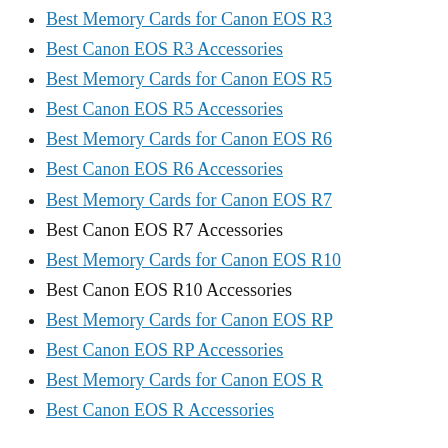Best Memory Cards for Canon EOS R3
Best Canon EOS R3 Accessories
Best Memory Cards for Canon EOS R5
Best Canon EOS R5 Accessories
Best Memory Cards for Canon EOS R6
Best Canon EOS R6 Accessories
Best Memory Cards for Canon EOS R7
Best Canon EOS R7 Accessories
Best Memory Cards for Canon EOS R10
Best Canon EOS R10 Accessories
Best Memory Cards for Canon EOS RP
Best Canon EOS RP Accessories
Best Memory Cards for Canon EOS R
Best Canon EOS R Accessories